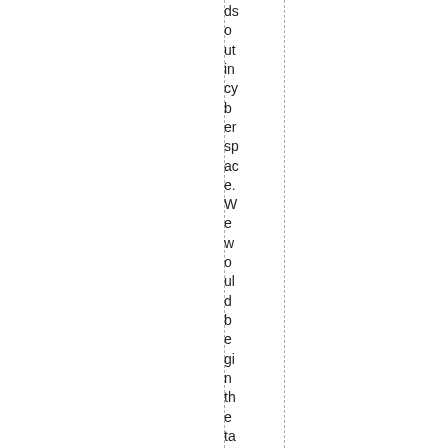ds o ut in cy b er sp ac e. We w o ul d b e gi n th e ta sk wi th St re tc h